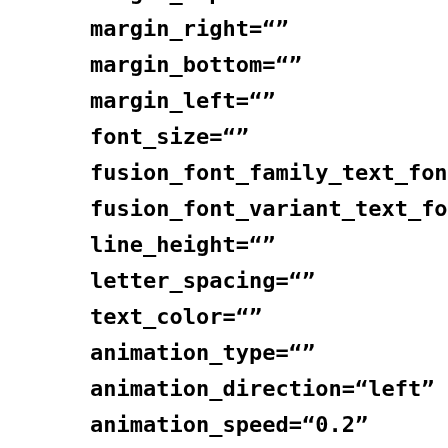margin_top=
margin_right=""
margin_bottom=""
margin_left=""
font_size=""
fusion_font_family_text_font=
fusion_font_variant_text_font=
line_height=""
letter_spacing=""
text_color=""
animation_type=""
animation_direction="left"
animation_speed="0.2"